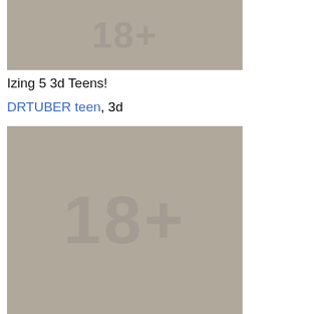[Figure (photo): Blurred/placeholder adult content thumbnail with '18+' watermark overlay, gray background]
Izing 5 3d Teens!
DRTUBER, teen, 3d
[Figure (photo): Blurred/placeholder adult content thumbnail with '18+' watermark overlay, gray background, larger version]